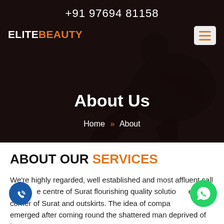+91 97694 81158
ELITEBEAUTY
[Figure (photo): Dark background photo of a woman in black lingerie posed on a white surface, used as hero banner background.]
About Us
Home » About
ABOUT OUR SERVICES
We're highly regarded, well established and most affluent call girl service centre of Surat flourishing quality solutions every corner of Surat and outskirts. The idea of company emerged after coming round the shattered man deprived of love